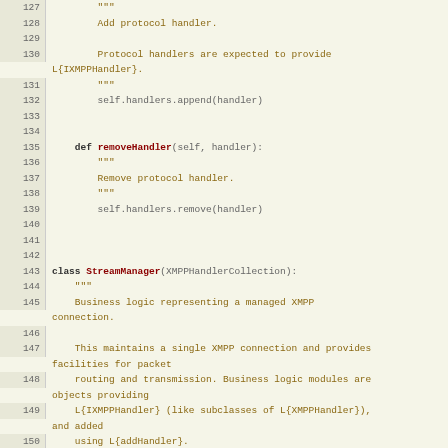[Figure (screenshot): Python source code viewer showing lines 127-154 with line numbers on the left and code on the right. The code defines methods addHandler and removeHandler in a class, and begins defining class StreamManager(XMPPHandlerCollection).]